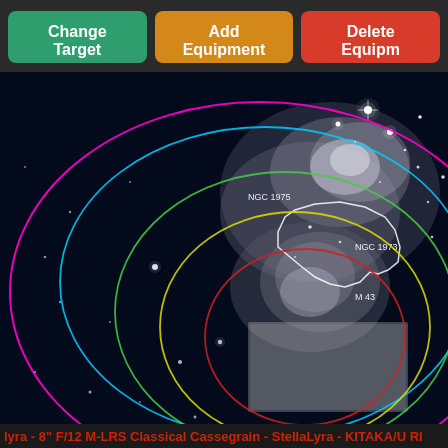[Figure (screenshot): Astronomy planning app UI showing three toolbar buttons: Change Target (green), Add Equipment (orange), Delete Equipment (red), above a star map showing the Orion nebula region with NGC 1975, NGC 1973, M 43 labeled and multiple overlapping field-of-view circles in magenta, cyan, green, yellow, and red colors, plus a white irregular outline region.]
lyra - 8" F/12 M-LRS Classical Cassegrain - StellaLyra - KITAKA/U RI